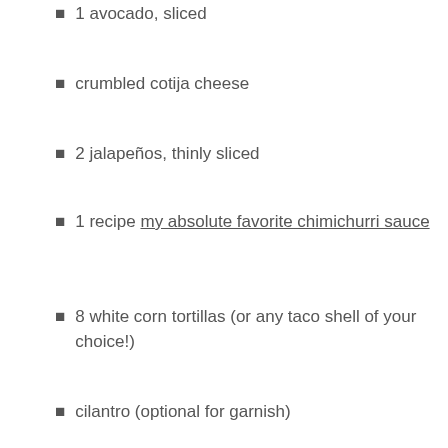1 avocado, sliced
crumbled cotija cheese
2 jalapeños, thinly sliced
1 recipe my absolute favorite chimichurri sauce
8 white corn tortillas (or any taco shell of your choice!)
cilantro (optional for garnish)
INSTRUCTION
For the red onions
In a small sauce pan add the sliced red onions, water, white vinegar and sugar. Bring mixture to a boil and